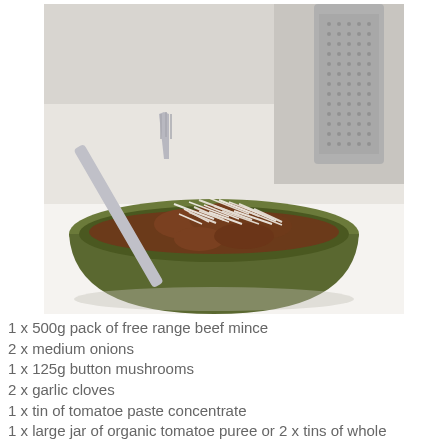[Figure (photo): A green ceramic bowl filled with what appears to be a meat dish (bolognese or similar mince-based pasta) topped with grated parmesan cheese. A silver fork rests in the bowl, and a metal cheese grater is visible in the background on a white surface.]
1 x  500g pack of free range beef mince
2 x medium onions
1 x 125g button mushrooms
2 x garlic cloves
1 x tin of tomatoe paste concentrate
1 x large jar of organic tomatoe puree or 2 x tins of whole